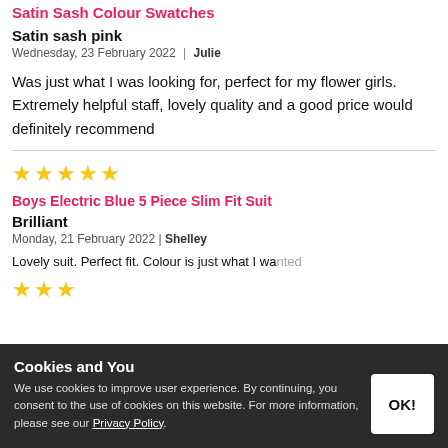Satin Sash Colour Swatches
Satin sash pink
Wednesday, 23 February 2022  |  Julie
Was just what I was looking for, perfect for my flower girls. Extremely helpful staff, lovely quality and a good price would definitely recommend
★★★★★
Boys Electric Blue 5 Piece Slim Fit Suit
Brilliant
Monday, 21 February 2022  |  Shelley
Lovely suit. Perfect fit. Colour is just what I wanted
★★★
Cookies and You
We use cookies to improve user experience. By continuing, you consent to the use of cookies on this website. For more information, please see our Privacy Policy.